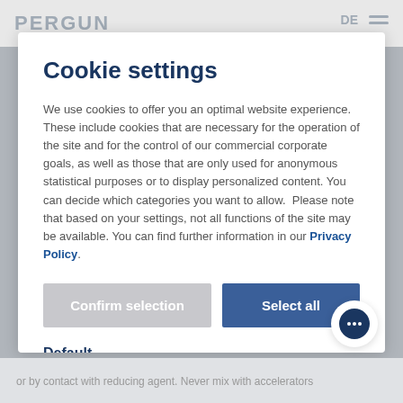PERGUN   DE
Cookie settings
We use cookies to offer you an optimal website experience. These include cookies that are necessary for the operation of the site and for the control of our commercial corporate goals, as well as those that are only used for anonymous statistical purposes or to display personalized content. You can decide which categories you want to allow. Please note that based on your settings, not all functions of the site may be available. You can find further information in our Privacy Policy.
Confirm selection
Select all
Default
Tools that enable essential services and functions, including identity verification, service continuity and site security. This option cannot be denied.
or by contact with reducing agent. Never mix with accelerators